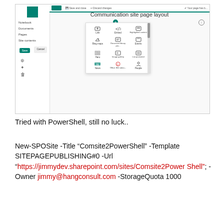[Figure (screenshot): Screenshot of SharePoint Communication site page layout editor showing left navigation sidebar with Notebook, Documents, Pages, Site contents items and Save/Cancel buttons, top bar with Save and close / Discard changes options, a title reading 'Communication site page layout', and a web part picker popup grid showing icons for Link, Embed, Highlighted content, Bing maps, Document library pro, Events, Hero, Image gallery, List, News, Office 365 video, People.]
Tried with PowerShell, still no luck..
New-SPOSite -Title “Comsite2PowerShell” -Template SITEPAGEPUBLISHING#0 -Url “https://jimmydev.sharepoint.com/sites/Comsite2PowerShell”; -Owner jimmy@hangconsult.com -StorageQuota 1000